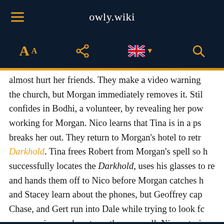owly.wiki
almost hurt her friends. They make a video warning the church, but Morgan immediately removes it. Stil confides in Bodhi, a volunteer, by revealing her pow working for Morgan. Nico learns that Tina is in a ps breaks her out. They return to Morgan's hotel to retr Darkhold. Tina frees Robert from Morgan's spell so h successfully locates the Darkhold, uses his glasses to re and hands them off to Nico before Morgan catches h and Stacey learn about the phones, but Geoffrey cap Chase, and Gert run into Dale while trying to look fc coven arrives and captures them as well. Nico retur the Dark Dimension, only to be interrupted by Ty Jo arrival.